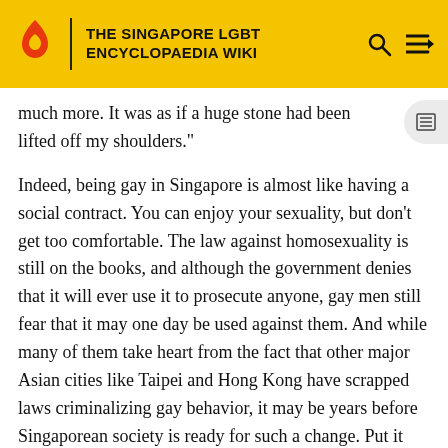THE SINGAPORE LGBT ENCYCLOPAEDIA WIKI
much more. It was as if a huge stone had been lifted off my shoulders."
Indeed, being gay in Singapore is almost like having a social contract. You can enjoy your sexuality, but don't get too comfortable. The law against homosexuality is still on the books, and although the government denies that it will ever use it to prosecute anyone, gay men still fear that it may one day be used against them. And while many of them take heart from the fact that other major Asian cities like Taipei and Hong Kong have scrapped laws criminalizing gay behavior, it may be years before Singaporean society is ready for such a change. Put it this way, despite numerous complaints,